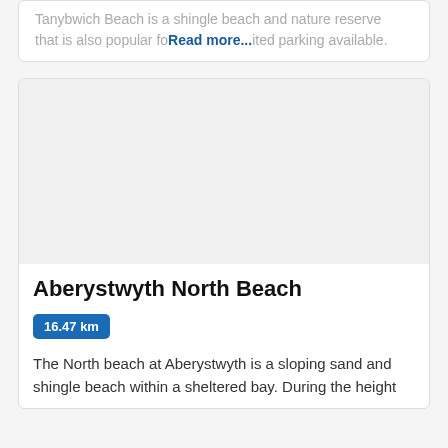Tanybwich Beach is a shingle beach and nature reserve that is also popular fo Read more... ited parking available.
[Figure (photo): Photo placeholder for Aberystwyth North Beach (blank/loading image area)]
Aberystwyth North Beach
16.47 km
The North beach at Aberystwyth is a sloping sand and shingle beach within a sheltered bay. During the height